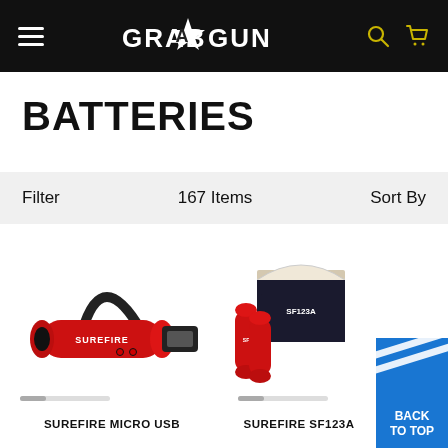GRABAGUN
BATTERIES
Filter   167 Items   Sort By
[Figure (photo): SureFire Micro USB rechargeable battery - red cylindrical body with USB cable attached]
[Figure (photo): SureFire SF123A batteries - box and individual cylindrical red batteries]
SUREFIRE MICRO USB
SUREFIRE SF123A
BACK TO TOP